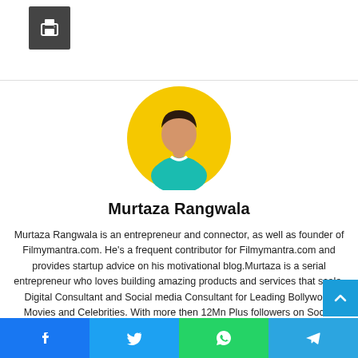[Figure (other): Print button icon in dark grey square at top left]
[Figure (illustration): Yellow circle avatar with generic male silhouette figure in teal shirt and white collar]
Murtaza Rangwala
Murtaza Rangwala is an entrepreneur and connector, as well as founder of Filmymantra.com. He's a frequent contributor for Filmymantra.com and provides startup advice on his motivational blog.Murtaza is a serial entrepreneur who loves building amazing products and services that scale. Digital Consultant and Social media Consultant for Leading Bollywood Movies and Celebrities. With more then 12Mn Plus followers on Social media. Have done a campaign for movies Like Sarbjit, Madaari. Engineer turned into Entrepreneur. @thatmedianerd on Tw
[Figure (other): Social share bar at bottom with Facebook, Twitter, WhatsApp, and Telegram buttons]